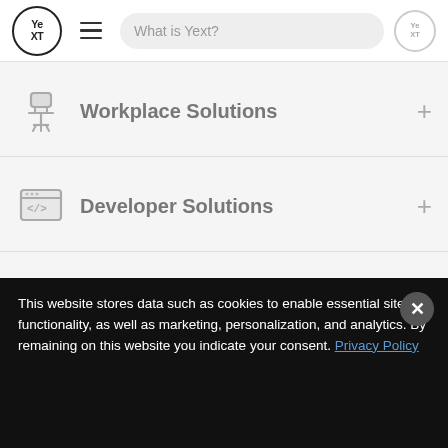Yext — navigation header with logo, hamburger menu, search bar 'What is Yext?'
Workplace Solutions
Developer Solutions
This website stores data such as cookies to enable essential site functionality, as well as marketing, personalization, and analytics. By remaining on this website you indicate your consent. Privacy Policy